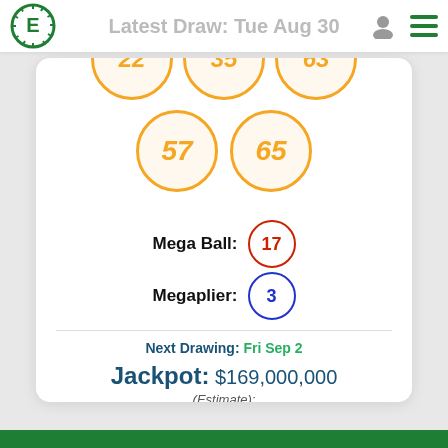Latest Draw: Tue Aug 30
[Figure (illustration): ELottery logo - green circle with E and rays]
[Figure (illustration): Lottery balls showing numbers 57 and 65 (orange outlined circles)]
Mega Ball: 17
Megaplier: 3
Next Drawing: Fri Sep 2
Jackpot: $169,000,000
(Estimate):